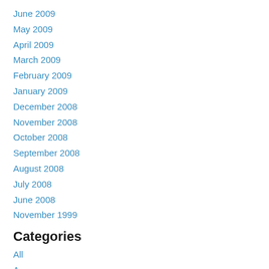June 2009
May 2009
April 2009
March 2009
February 2009
January 2009
December 2008
November 2008
October 2008
September 2008
August 2008
July 2008
June 2008
November 1999
Categories
All
A
Estryed Infrastructure
F
Hai